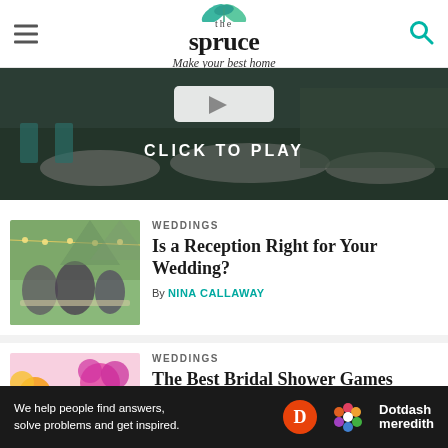[Figure (logo): The Spruce logo with leaf illustration and tagline 'Make your best home']
[Figure (screenshot): Video player banner showing wedding reception hall with 'CLICK TO PLAY' overlay]
WEDDINGS
Is a Reception Right for Your Wedding?
By NINA CALLAWAY
[Figure (photo): Outdoor wedding reception with guests and wedding party under string lights]
WEDDINGS
The Best Bridal Shower Games
[Figure (photo): Bridal shower setup with pink flowers, balloons, and 'bride' sign]
[Figure (infographic): Dotdash Meredith advertisement bar: 'We help people find answers, solve problems and get inspired.']